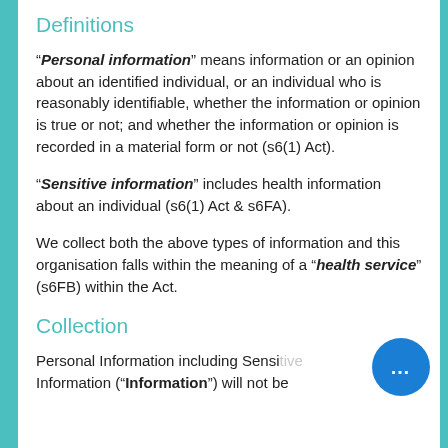Definitions
“Personal information” means information or an opinion about an identified individual, or an individual who is reasonably identifiable, whether the information or opinion is true or not; and whether the information or opinion is recorded in a material form or not (s6(1) Act).
“Sensitive information” includes health information about an individual (s6(1) Act & s6FA).
We collect both the above types of information and this organisation falls within the meaning of a “health service” (s6FB) within the Act.
Collection
Personal Information including Sensitive Information (“Information”) will not be